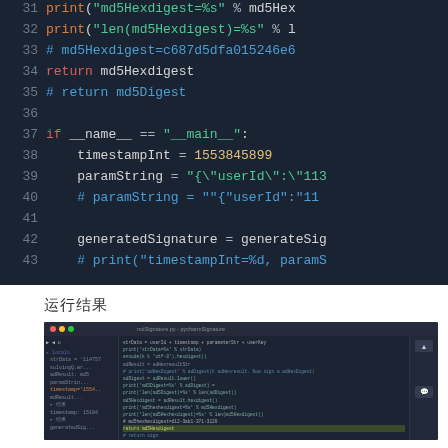[Figure (screenshot): Dark-themed Python code editor screenshot showing lines 31-43 of code with syntax highlighting. Lines include print statements, return statements, a comment with md5 hash, if __name__ == '__main__' block, timestampInt, paramString, and generatedSignature variable assignments.]
运行结果
[Figure (screenshot): Screenshot of an IDE (likely VS Code) showing a Python script mdSignature.py with file explorer on the left, code editor in the center with syntax highlighting, and a panel on the right. A line with return md5hexdigest is highlighted in green/yellow.]